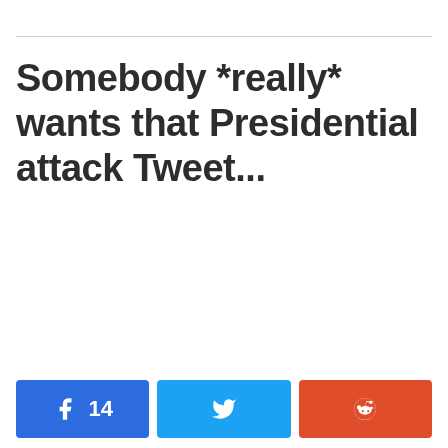Somebody *really* wants that Presidential attack Tweet...
[Figure (other): Social share buttons: Facebook with count 14, Twitter, Reddit]